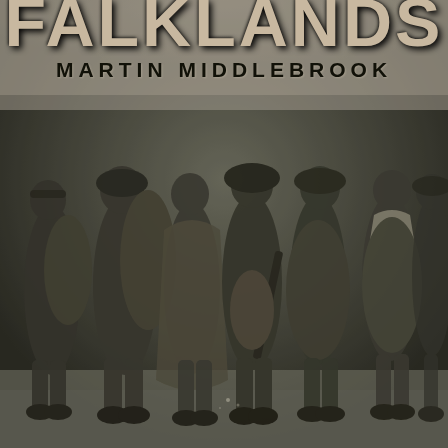FALKLANDS
MARTIN MIDDLEBROOK
[Figure (photo): Black and white photograph of a group of soldiers in military gear, helmets, and heavy coats, carrying weapons and equipment, standing together in a cold environment. The image forms the main cover background of the book.]